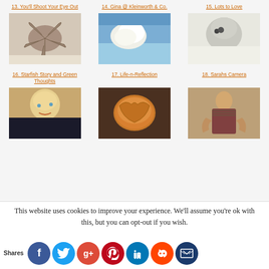13. You'll Shoot Your Eye Out
14. Gina @ Kleinworth & Co.
15. Lots to Love
[Figure (photo): Photo of a starfish on sand]
[Figure (photo): Photo of clouds in a blue sky]
[Figure (photo): Black and white photo of a baby]
16. Starfish Story and Green Thoughts
17. Life-n-Reflection
18. Sarahs Camera
[Figure (photo): Photo of a smiling blonde child]
[Figure (photo): Photo of a round loaf of bread]
[Figure (photo): Photo of a girl in plaid shirt]
This website uses cookies to improve your experience. We'll assume you're ok with this, but you can opt-out if you wish.